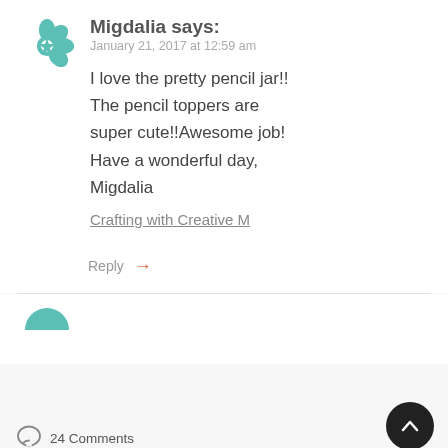[Figure (logo): Teal/green decorative geometric mandala-style avatar icon]
Migdalia says:
January 21, 2017 at 12:59 am
I love the pretty pencil jar!! The pencil toppers are super cute!!Awesome job! Have a wonderful day, Migdalia
Crafting with Creative M
Reply →
[Figure (illustration): Partial teal avatar icon (top half visible, cropped by divider)]
[Figure (illustration): Speech bubble / comment icon]
24 Comments
[Figure (illustration): Dark circular scroll-to-top button with upward arrow]